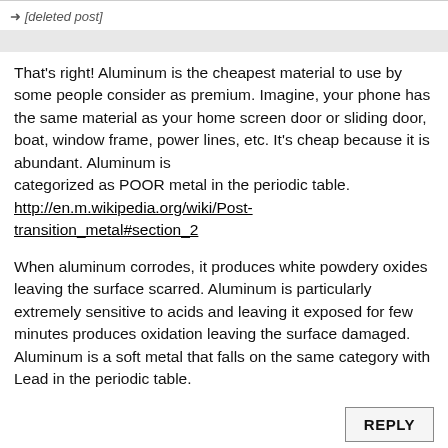[deleted post]
That's right! Aluminum is the cheapest material to use by some people consider as premium. Imagine, your phone has the same material as your home screen door or sliding door, boat, window frame, power lines, etc. It's cheap because it is abundant. Aluminum is categorized as POOR metal in the periodic table. http://en.m.wikipedia.org/wiki/Post-transition_metal#section_2
When aluminum corrodes, it produces white powdery oxides leaving the surface scarred. Aluminum is particularly extremely sensitive to acids and leaving it exposed for few minutes produces oxidation leaving the surface damaged. Aluminum is a soft metal that falls on the same category with Lead in the periodic table.
REPLY
2
Anonymous
03 Oct 2012